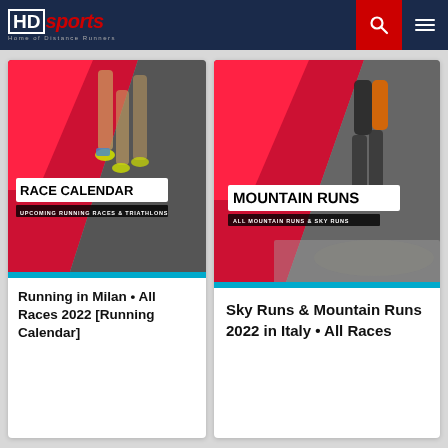HD Sports – Home of Distance Runners
[Figure (screenshot): Race Calendar banner with runners' feet and red diagonal design. Text: RACE CALENDAR / UPCOMING RUNNING RACES & TRIATHLONS]
Running in Milan • All Races 2022 [Running Calendar]
[Figure (screenshot): Mountain Runs banner with trail runner and red diagonal design. Text: MOUNTAIN RUNS / ALL MOUNTAIN RUNS & SKY RUNS]
Sky Runs & Mountain Runs 2022 in Italy • All Races